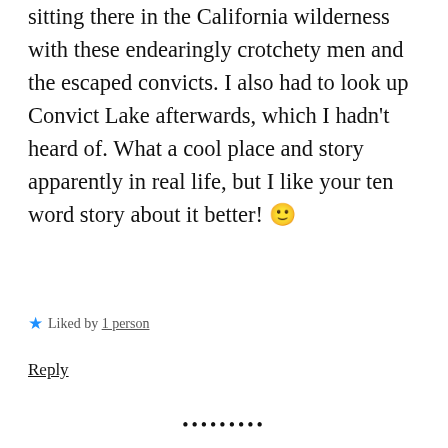sitting there in the California wilderness with these endearingly crotchety men and the escaped convicts. I also had to look up Convict Lake afterwards, which I hadn't heard of. What a cool place and story apparently in real life, but I like your ten word story about it better! 🙂
★ Liked by 1 person
Reply
••••••••
Jonathan James Olivier
January 17, 2016 at 2:12 pm